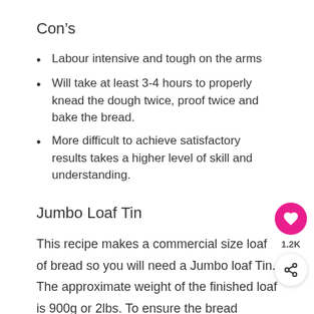Con’s
Labour intensive and tough on the arms
Will take at least 3-4 hours to properly knead the dough twice, proof twice and bake the bread.
More difficult to achieve satisfactory results takes a higher level of skill and understanding.
Jumbo Loaf Tin
This recipe makes a commercial size loaf of bread so you will need a Jumbo loaf Tin. The approximate weight of the finished loaf is 900g or 2lbs. To ensure the bread doesn’t stick make sure your tin is non-stick and a heavy metal,